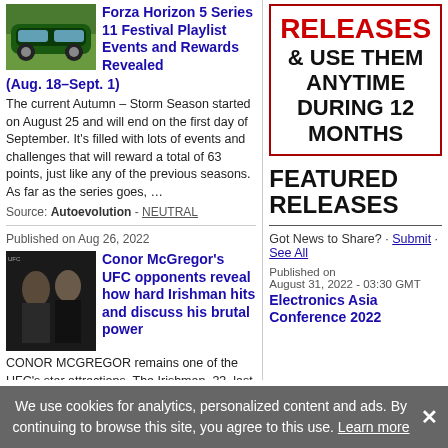Forza Horizon 5 Series 11 Festival Playlist Events and Rewards Revealed (Aug. 18–Sept. 1)
The current Autumn – Storm Season started on August 25 and will end on the first day of September. It's filled with lots of events and challenges that will reward a total of 63 points, just like any of the previous seasons. As far as the series goes, …
Source: Autoevolution - NEUTRAL
Published on Aug 26, 2022
Conor McGregor's UFC opponents reveal how hard Irishman hits and discuss his brutal power
CONOR MCGREGOR remains one of the UFC's star attractions. The Irishman, 33, last fought in July 2021 when he was stopped by Dustin Poirier
RELEASES & USE THEM ANYTIME DURING 12 MONTHS
FEATURED RELEASES
Got News to Share? · Submit · See All
Published on August 31, 2022 - 03:30 GMT
Electronics Asia Conference 2022
We use cookies for analytics, personalized content and ads. By continuing to browse this site, you agree to this use. Learn more